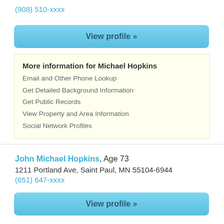(908) 510-xxxx
View profile »
More information for Michael Hopkins
Email and Other Phone Lookup
Get Detailed Background Information
Get Public Records
View Property and Area Information
Social Network Profiles
John Michael Hopkins, Age 73
1211 Portland Ave, Saint Paul, MN 55104-6944
(651) 647-xxxx
View profile »